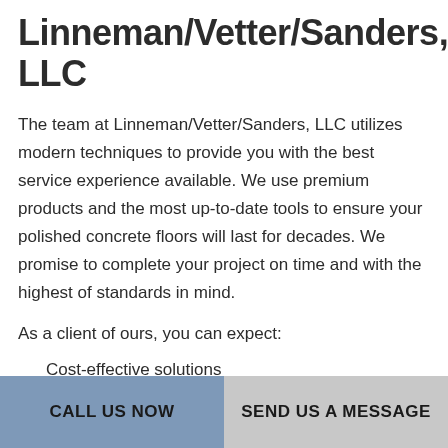Linneman/Vetter/Sanders, LLC
The team at Linneman/Vetter/Sanders, LLC utilizes modern techniques to provide you with the best service experience available. We use premium products and the most up-to-date tools to ensure your polished concrete floors will last for decades. We promise to complete your project on time and with the highest of standards in mind.
As a client of ours, you can expect:
Cost-effective solutions
Personalized consultation services
CALL US NOW | SEND US A MESSAGE